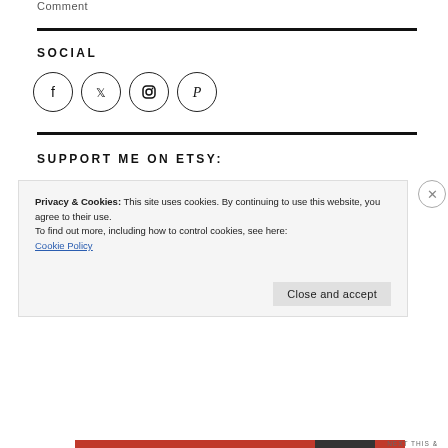Comment
SOCIAL
[Figure (illustration): Four social media icon circles: Facebook, Twitter, Instagram, Pinterest]
SUPPORT ME ON ETSY:
Privacy & Cookies: This site uses cookies. By continuing to use this website, you agree to their use.
To find out more, including how to control cookies, see here:
Cookie Policy
Close and accept